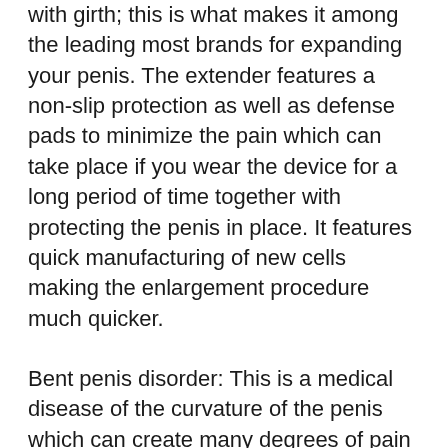with girth; this is what makes it among the leading most brands for expanding your penis. The extender features a non-slip protection as well as defense pads to minimize the pain which can take place if you wear the device for a long period of time together with protecting the penis in place. It features quick manufacturing of new cells making the enlargement procedure much quicker.
Bent penis disorder: This is a medical disease of the curvature of the penis which can create many degrees of pain affecting an individual's self-confidence on a whole. The Bent Penis syndrome or also referred to as Peyronies can definitely be enhanced by using SizeGenetics. The tool will certainly